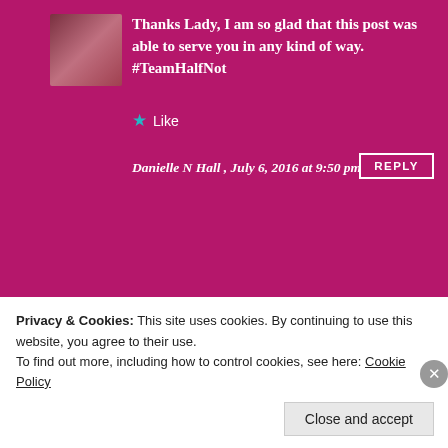Thanks Lady, I am so glad that this post was able to serve you in any kind of way. #TeamHalfNot
Like
Danielle N Hall , July 6, 2016 at 9:50 pm
REPLY
Wonderful message! Thank you for this!
Liked by 1 person
Privacy & Cookies: This site uses cookies. By continuing to use this website, you agree to their use.
To find out more, including how to control cookies, see here: Cookie Policy
Close and accept